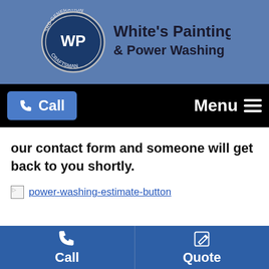[Figure (logo): White's Painting & Power Washing company logo with WP emblem on blue header background]
Call  Menu
our contact form and someone will get back to you shortly.
[Figure (other): Broken image icon followed by link text: power-washing-estimate-button]
Call  Quote